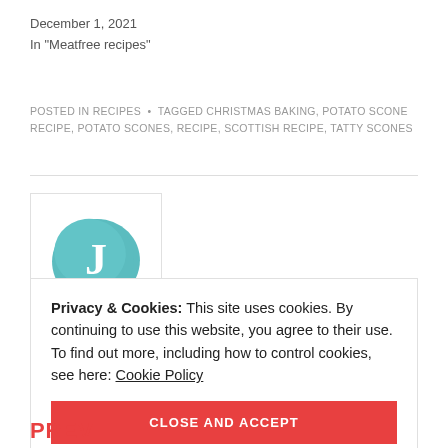December 1, 2021
In "Meatfree recipes"
POSTED IN RECIPES • TAGGED CHRISTMAS BAKING, POTATO SCONE RECIPE, POTATO SCONES, RECIPE, SCOTTISH RECIPE, TATTY SCONES
[Figure (illustration): Teal/turquoise blob-shaped avatar with white letter J]
Privacy & Cookies: This site uses cookies. By continuing to use this website, you agree to their use.
To find out more, including how to control cookies, see here: Cookie Policy
CLOSE AND ACCEPT
PREV